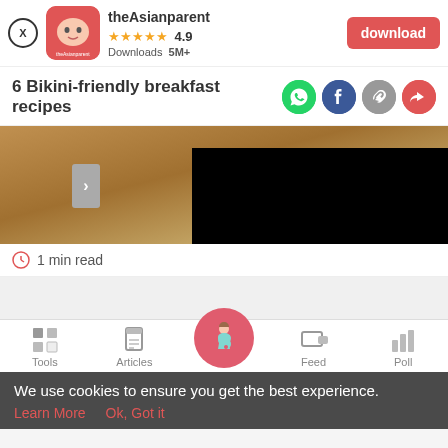[Figure (screenshot): App banner with theAsianparent logo, 4.9 star rating, 5M+ downloads, and a red download button]
6 Bikini-friendly breakfast recipes
[Figure (illustration): Social sharing icons: WhatsApp, Facebook, link, share]
[Figure (photo): Hero image area with brown/golden gradient and a black panel on the right, with a grey navigation arrow]
1 min read
[Figure (screenshot): Bottom navigation bar with Tools, Articles, home (pregnant woman icon), Feed, Poll]
We use cookies to ensure you get the best experience.
Learn More   Ok, Got it